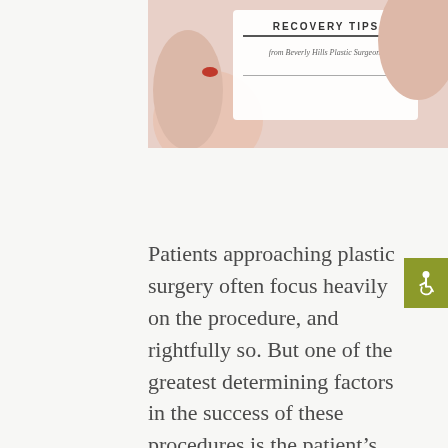[Figure (photo): A partial image showing hands holding something white, with text overlay reading 'RECOVERY TIPS from Beverly Hills Plastic Surgeons' on a white card/panel]
Patients approaching plastic surgery often focus heavily on the procedure, and rightfully so. But one of the greatest determining factors in the success of these procedures is the patient's ability to recover afterward. Here are five tips for post-surgery recovery so that you can rest easy after your procedure at Beverly